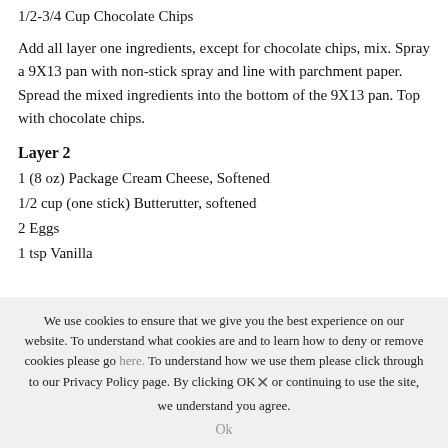1/2-3/4 Cup Chocolate Chips
Add all layer one ingredients, except for chocolate chips, mix. Spray a 9X13 pan with non-stick spray and line with parchment paper. Spread the mixed ingredients into the bottom of the 9X13 pan. Top with chocolate chips.
Layer 2
1 (8 oz) Package Cream Cheese, Softened
1/2 cup (one stick) Butterutter, softened
2 Eggs
1 tsp Vanilla
We use cookies to ensure that we give you the best experience on our website. To understand what cookies are and to learn how to deny or remove cookies please go here. To understand how we use them please click through to our Privacy Policy page. By clicking OK or continuing to use the site, we understand you agree.
Ok